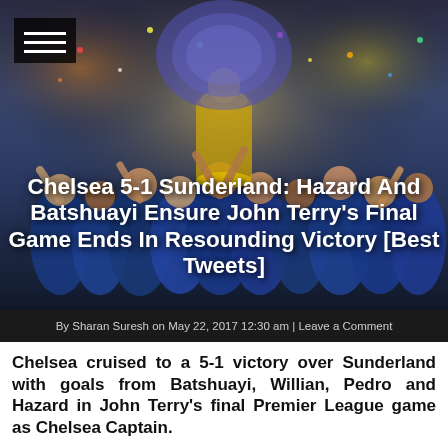[Figure (photo): Chelsea football players celebrating with the Premier League trophy, confetti and fireworks in the background, blue kit, crowd of players lifting the trophy]
Chelsea 5-1 Sunderland: Hazard And Batshuayi Ensure John Terry's Final Game Ends In Resounding Victory [Best Tweets]
By Sharan Suresh on May 22, 2017 12:30 am | Leave a Comment
Chelsea cruised to a 5-1 victory over Sunderland with goals from Batshuayi, Willian, Pedro and Hazard in John Terry's final Premier League game as Chelsea Captain.
With this victory, Chelsea set a new Premier League win record of 30 wins in a single league season, never before achieved in the Pla... Thibaut Courtois was also...